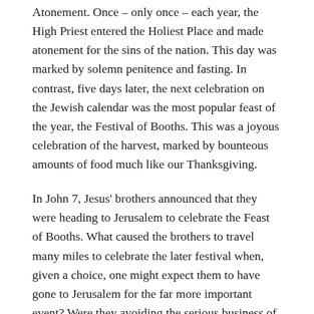Atonement. Once – only once – each year, the High Priest entered the Holiest Place and made atonement for the sins of the nation. This day was marked by solemn penitence and fasting. In contrast, five days later, the next celebration on the Jewish calendar was the most popular feast of the year, the Festival of Booths. This was a joyous celebration of the harvest, marked by bounteous amounts of food much like our Thanksgiving.
In John 7, Jesus' brothers announced that they were heading to Jerusalem to celebrate the Feast of Booths. What caused the brothers to travel many miles to celebrate the later festival when, given a choice, one might expect them to have gone to Jerusalem for the far more important event? Were they avoiding the serious business of atonement and instead opting for the fun of a harvest feast? Was this like celebrating the fun of Santa Claus without remembering the Christ of Christmas?
When Jesus said he was not planning to go along, the brothers